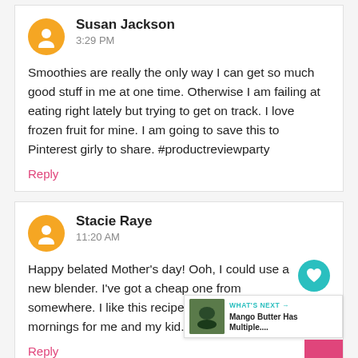Susan Jackson
3:29 PM

Smoothies are really the only way I can get so much good stuff in me at one time. Otherwise I am failing at eating right lately but trying to get on track. I love frozen fruit for mine. I am going to save this to Pinterest girly to share. #productreviewparty

Reply
Stacie Raye
11:20 AM

Happy belated Mother's day! Ooh, I could use a new blender. I've got a cheap one from somewhere. I like this recipe for hot summer mornings for me and my kid. #productreviewparty

Reply